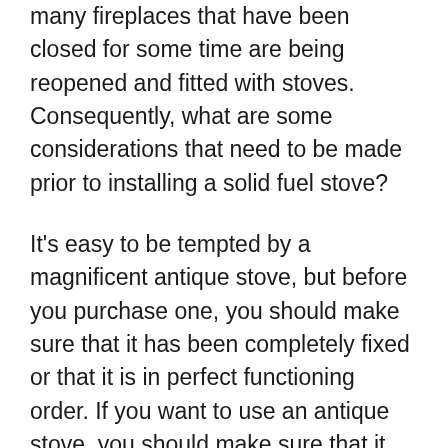many fireplaces that have been closed for some time are being reopened and fitted with stoves. Consequently, what are some considerations that need to be made prior to installing a solid fuel stove?
It's easy to be tempted by a magnificent antique stove, but before you purchase one, you should make sure that it has been completely fixed or that it is in perfect functioning order. If you want to use an antique stove, you should make sure that it can be operated without risk and that it is enough for your heating requirements. Any reputable dealer worth their salt will provide you with the direction that is both comprehensive and uncomplicated. Since most antique stoves are not very airtight and are therefore considerably less effective heat